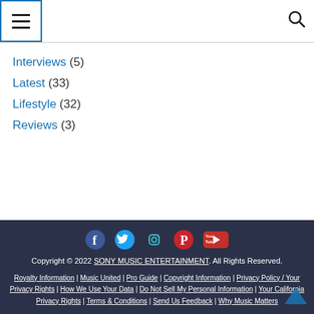Menu | Search
Interviews (5)
Latest (33)
Lifestyle (32)
Reviews (3)
[Figure (infographic): Social media icons: Facebook, Twitter, Instagram, Pinterest, YouTube]
Copyright © 2022 SONY MUSIC ENTERTAINMENT. All Rights Reserved. | Royalty Information | Music United | Pro Guide | Copyright Information | Privacy Policy / Your Privacy Rights | How We Use Your Data | Do Not Sell My Personal Information | Your California Privacy Rights | Terms & Conditions | Send Us Feedback | Why Music Matters